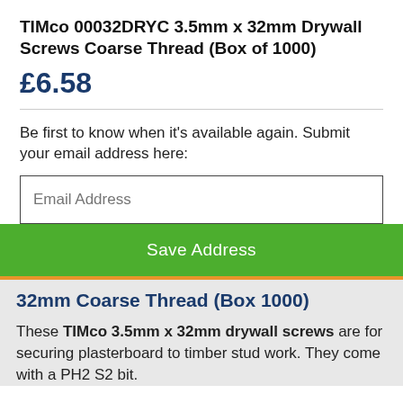TIMco 00032DRYC 3.5mm x 32mm Drywall Screws Coarse Thread (Box of 1000)
£6.58
Be first to know when it's available again. Submit your email address here:
Email Address
Save Address
32mm Coarse Thread (Box 1000)
These TIMco 3.5mm x 32mm drywall screws are for securing plasterboard to timber stud work. They come with a PH2 S2 bit.